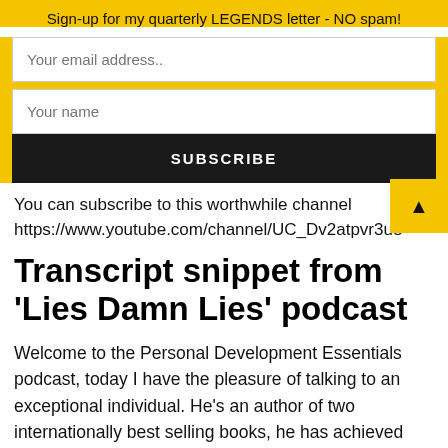Sign-up for my quarterly LEGENDS letter - NO spam!
[Figure (screenshot): Email subscription form with fields for email address and name, and a Subscribe button]
You can subscribe to this worthwhile channel https://www.youtube.com/channel/UC_Dv2atpvr3u8
Transcript snippet from 'Lies Damn Lies' podcast
Welcome to the Personal Development Essentials podcast, today I have the pleasure of talking to an exceptional individual. He's an author of two internationally best selling books, he has achieved